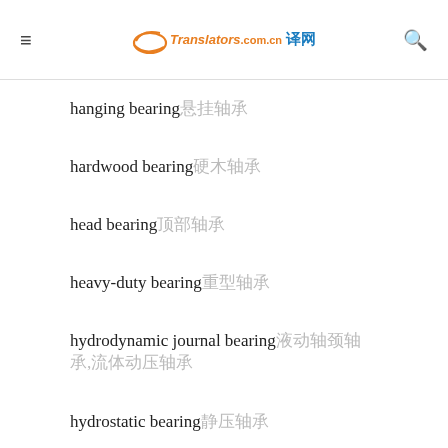TranslatorsCN header with menu and search icons
hanging bearing 悬挂轴承
hardwood bearing 硬木轴承
head bearing 顶部轴承
heavy-duty bearing 重型轴承
hydrodynamic journal bearing 液体动力轴颈轴承,流体动压轴承
hydrostatic bearing 静压轴承
idler shaft bearing 惰性轴轴承
inclined bearing(斜)斜轴承,坡轴承
inner bearing 内轴承